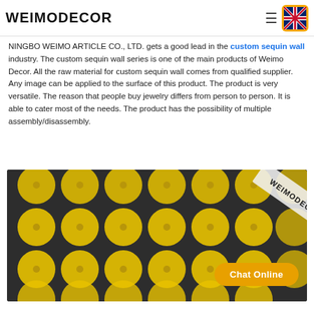WEIMODECOR
NINGBO WEIMO ARTICLE CO., LTD. gets a good lead in the custom sequin wall industry. The custom sequin wall series is one of the main products of Weimo Decor. All the raw material for custom sequin wall comes from qualified supplier. Any image can be applied to the surface of this product. The product is very versatile. The reason that people buy jewelry differs from person to person. It is able to cater most of the needs. The product has the possibility of multiple assembly/disassembly.
[Figure (photo): A grid panel of round yellow metallic sequins/discs arranged in rows on a dark background, with a WEIMODECOR watermark in the upper right corner and a Chat Online button overlay in the lower right.]